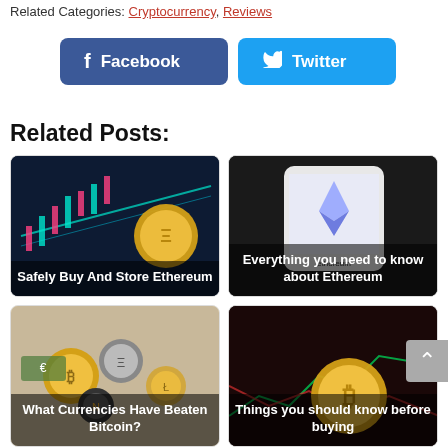Related Categories: Cryptocurrency, Reviews
Facebook  Twitter
Related Posts:
[Figure (photo): Cryptocurrency coins with stock chart in background, labeled 'Safely Buy And Store Ethereum']
[Figure (photo): Phone showing Ethereum logo on dark surface, labeled 'Everything you need to know about Ethereum']
[Figure (photo): Various cryptocurrency coins scattered, labeled 'What Currencies Have Beaten Bitcoin?']
[Figure (photo): Bitcoin coin with red/green stock chart in background, labeled 'Things you should know before buying']